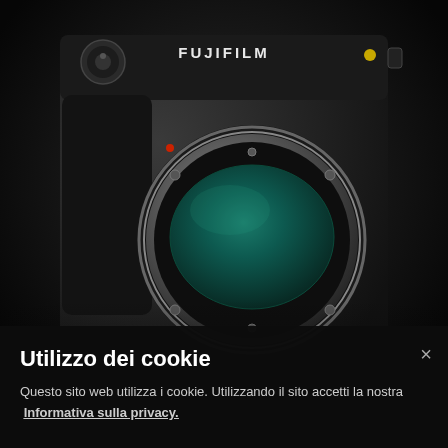[Figure (photo): Fujifilm GFX100S mirrorless camera body shown front-facing against a very dark, near-black background. The camera is black with a large circular metal lens mount in the center revealing a teal/green-tinted image sensor. The Fujifilm logo is visible on top of the camera in white text. A yellow accent dot is visible on the top right of the camera body.]
Utilizzo dei cookie
Questo sito web utilizza i cookie. Utilizzando il sito accetti la nostra  Informativa sulla privacy.